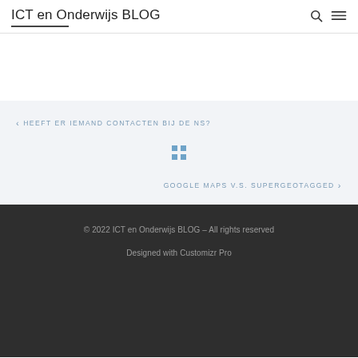ICT en Onderwijs BLOG
< HEEFT ER IEMAND CONTACTEN BIJ DE NS?
[Figure (other): Grid/home icon in blue-gray]
GOOGLE MAPS V.S. SUPERGEOTAGGED >
© 2022 ICT en Onderwijs BLOG – All rights reserved
Designed with Customizr Pro